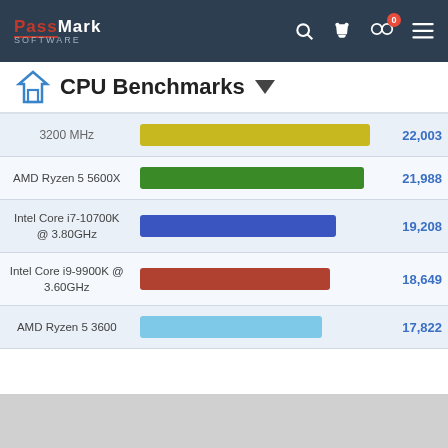PassMark Software
CPU Benchmarks
[Figure (bar-chart): CPU Benchmarks]